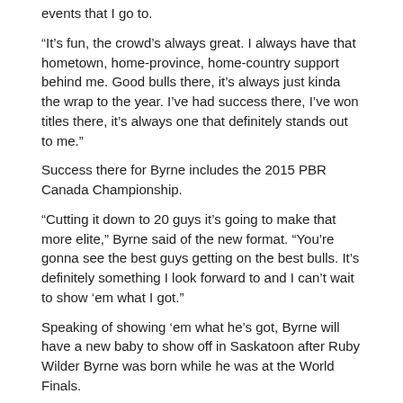events that I go to.
“It’s fun, the crowd’s always great. I always have that hometown, home-province, home-country support behind me. Good bulls there, it’s always just kinda the wrap to the year. I’ve had success there, I’ve won titles there, it’s always one that definitely stands out to me.”
Success there for Byrne includes the 2015 PBR Canada Championship.
“Cutting it down to 20 guys it’s going to make that more elite,” Byrne said of the new format. “You’re gonna see the best guys getting on the best bulls. It’s definitely something I look forward to and I can’t wait to show ‘em what I got.”
Speaking of showing ‘em what he’s got, Byrne will have a new baby to show off in Saskatoon after Ruby Wilder Byrne was born while he was at the World Finals.
“I got on a red-eye out of Vegas on Sunday night at about 12:30,” Byrne said of early Monday morning. “I got home, back to Prince Albert, about two in the afternoon. I got out of there on the first flight I could get so I could go and meet my new baby.”
Being in Las Vegas at the World Finals during the birth of his second child was nerve-wracking.